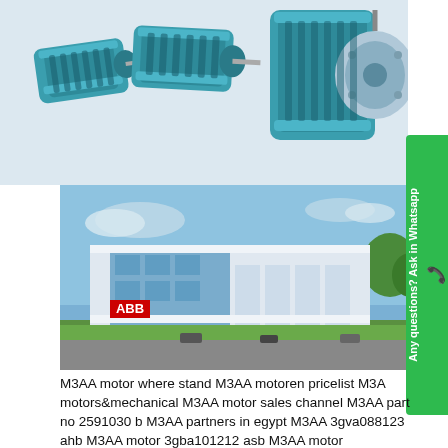[Figure (photo): Multiple teal/blue ABB M3AA electric motors shown from various angles against white background]
[Figure (photo): Exterior rendering of a large modern industrial ABB facility with glass facade and ABB logo on wall, green lawns in front]
M3AA motor where stand M3AA motoren pricelist M3A motors&mechanical M3AA motor sales channel M3AA part no 2591030 b M3AA partners in egypt M3AA 3gva088123 ahb M3AA motor 3gba101212 asb M3AA motor 3gaa11112002 bsb M3AAm2qa1604a 3gqa1623 M3AA motor 3ggp073320 bsa M3AA motorg m2qa160l4a b5 M3AA motors 3ga111001 esb M3AA m2qa 112 m4a malaysia M3AA 5.5 kw motor m2qa132s4a M3AA